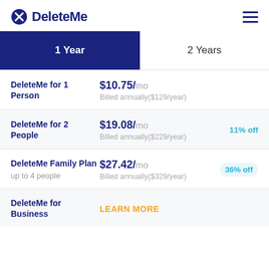DeleteMe
| Plan | Price | Discount |
| --- | --- | --- |
| DeleteMe for 1 Person | $10.75/mo Billed annually($129/year) |  |
| DeleteMe for 2 People | $19.08/mo Billed annually($229/year) | 11% off |
| DeleteMe Family Plan (up to 4 people) | $27.42/mo Billed annually($329/year) | 36% off |
| DeleteMe for Business | LEARN MORE |  |